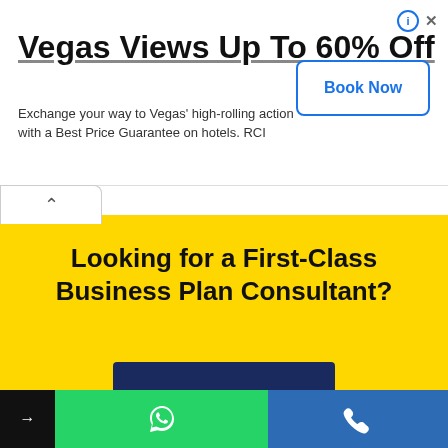[Figure (screenshot): Advertisement banner: Vegas Views Up To 60% Off with Book Now button]
Vegas Views Up To 60% Off
Exchange your way to Vegas' high-rolling action with a Best Price Guarantee on hotels. RCI
Looking for a First-Class Business Plan Consultant?
CONTACT US →
[Figure (infographic): Footer bar with black arrow section, green WhatsApp icon section, and blue phone icon section]